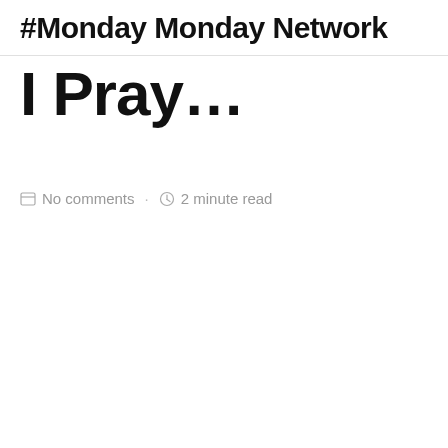#Monday Monday Network
I Pray…
No comments · 2 minute read